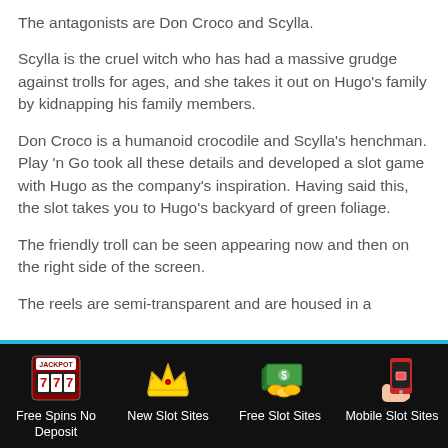The antagonists are Don Croco and Scylla.
Scylla is the cruel witch who has had a massive grudge against trolls for ages, and she takes it out on Hugo's family by kidnapping his family members.
Don Croco is a humanoid crocodile and Scylla's henchman. Play 'n Go took all these details and developed a slot game with Hugo as the company's inspiration. Having said this, the slot takes you to Hugo's backyard of green foliage.
The friendly troll can be seen appearing now and then on the right side of the screen.
The reels are semi-transparent and are housed in a
[Figure (illustration): Slot machine icon with JACKPOT text and 777]
[Figure (illustration): Gold crown icon]
[Figure (illustration): Money/cash stack with coins icon]
[Figure (illustration): Mobile phone with hand icon]
Free Spins No Deposit
New Slot Sites
Free Slot Sites
Mobile Slot Sites